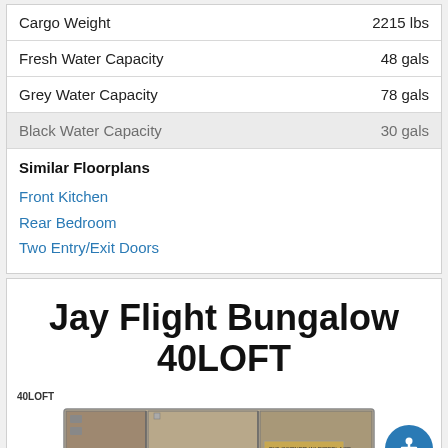| Specification | Value |
| --- | --- |
| Cargo Weight | 2215 lbs |
| Fresh Water Capacity | 48 gals |
| Grey Water Capacity | 78 gals |
| Black Water Capacity | 30 gals |
Similar Floorplans
Front Kitchen
Rear Bedroom
Two Entry/Exit Doors
Jay Flight Bungalow 40LOFT
[Figure (illustration): Floorplan diagram of the Jay Flight Bungalow 40LOFT RV layout showing interior room configuration]